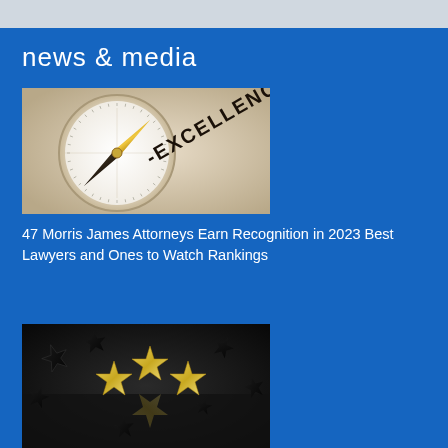news & media
[Figure (photo): Close-up of a compass with needle pointing to the word EXCELLENCE on its face, on a beige/cream background]
47 Morris James Attorneys Earn Recognition in 2023 Best Lawyers and Ones to Watch Rankings
[Figure (photo): Gold star shapes among dark/black star shapes scattered on a reflective surface, symbolizing recognition and excellence]